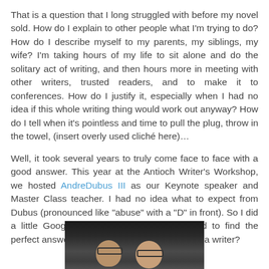That is a question that I long struggled with before my novel sold. How do I explain to other people what I'm trying to do? How do I describe myself to my parents, my siblings, my wife? I'm taking hours of my life to sit alone and do the solitary act of writing, and then hours more in meeting with other writers, trusted readers, and to make it to conferences. How do I justify it, especially when I had no idea if this whole writing thing would work out anyway? How do I tell when it's pointless and time to pull the plug, throw in the towel, (insert overly used cliché here)…
Well, it took several years to truly come face to face with a good answer. This year at the Antioch Writer's Workshop, we hosted AndreDubus III as our Keynote speaker and Master Class teacher. I had no idea what to expect from Dubus (pronounced like "abuse" with a "D" in front). So I did a little Google sleuthing, and I was amazed to find the perfect answer to that old question: Am I really a writer?
[Figure (photo): A dark photo showing two people, partially visible from the shoulders up, appearing to be at some kind of event or gathering with bookshelves visible in background.]